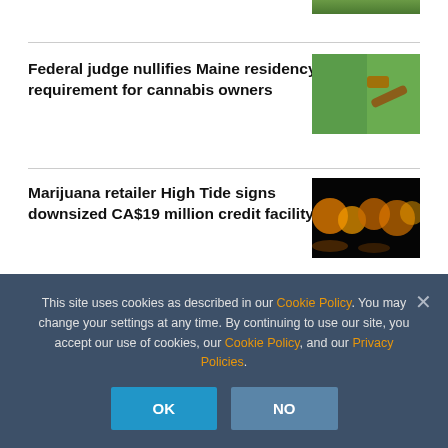[Figure (photo): Partial view of cannabis-related image at top of page, cropped]
Federal judge nullifies Maine residency requirement for cannabis owners
[Figure (photo): Gavel resting near cannabis leaves, green background]
Marijuana retailer High Tide signs downsized CA$19 million credit facility
[Figure (photo): Bokeh lights in orange tones suggesting money/finance on dark background]
New Mexico recreational cannabis supply
[Figure (photo): Partial image showing hands and money, blue-grey tones]
This site uses cookies as described in our Cookie Policy. You may change your settings at any time. By continuing to use our site, you accept our use of cookies, our Cookie Policy, and our Privacy Policies.
OK
NO